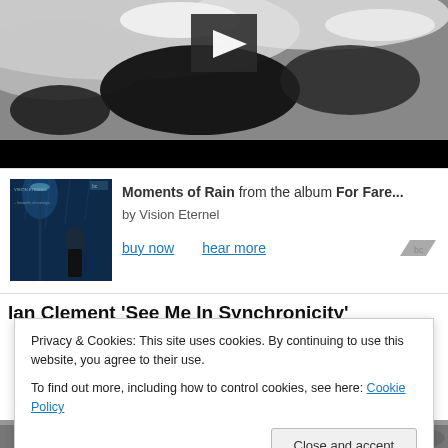[Figure (photo): Black and white snow/dark landscape photo with a video play button overlay, followed by a black bar (video player UI)]
Moments of Rain from the album For Fare... by Vision Eternel  buy now   hear more
Ian Clement ‘See Me In Synchronicity’
Privacy & Cookies: This site uses cookies. By continuing to use this website, you agree to their use.
To find out more, including how to control cookies, see here: Cookie Policy
Close and accept
[Figure (photo): Partial black and white photo visible at the bottom of the page]